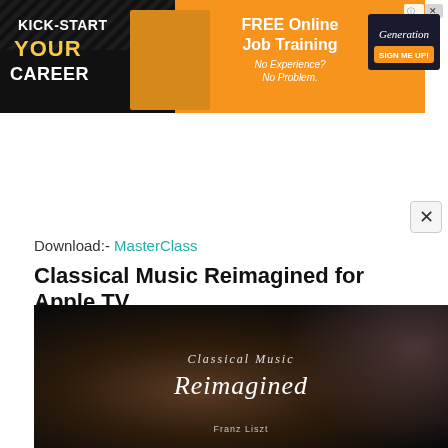[Figure (screenshot): Advertisement banner: 'KICK-START YOUR CAREER' with people in colorful clothing on left, orange section with 'FREE Online Job Training No Experience? No Problem.' in center, and Generation logo with 'SIGN ME UP!' button on right]
Download:- MasterClass
Classical Music Reimagined for Apple TV
[Figure (screenshot): Dark video thumbnail showing 'Classical Music Reimagined' text overlay with blurred background of a pianist, and 'Franz Liszt' subtitle at bottom]